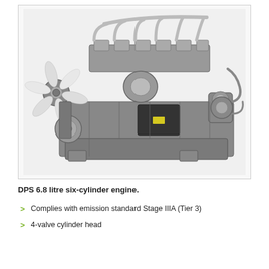[Figure (photo): Black and white photograph of a DPS 6.8 litre six-cylinder diesel engine showing fan blades on the left, turbocharger components, cylinder head with valve covers, and engine block.]
DPS 6.8 litre six-cylinder engine.
Complies with emission standard Stage IIIA (Tier 3)
4-valve cylinder head